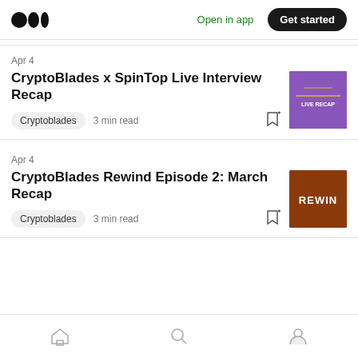Medium — Open in app — Get started
Apr 4
CryptoBlades x SpinTop Live Interview Recap
Cryptoblades · 3 min read
[Figure (photo): Purple/violet stage lighting with performers, thumbnail for CryptoBlades x SpinTop Live Interview Recap]
Apr 4
CryptoBlades Rewind Episode 2: March Recap
Cryptoblades · 3 min read
[Figure (photo): Dark orange/red 'REWIND' text graphic thumbnail for CryptoBlades Rewind Episode 2]